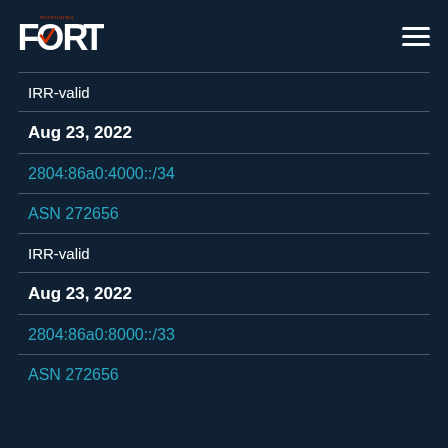[Figure (logo): FORT Monitoreo logo with red checkmark and white text on dark background]
IRR-valid
Aug 23, 2022
2804:86a0:4000::/34
ASN 272656
IRR-valid
Aug 23, 2022
2804:86a0:8000::/33
ASN 272656